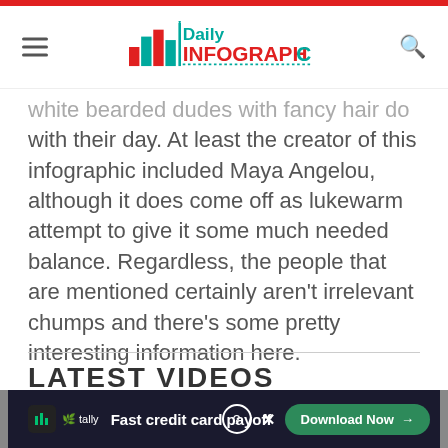Daily Infographic
white bearded dudes with fancy hair do with their day. At least the creator of this infographic included Maya Angelou, although it does come off as lukewarm attempt to give it some much needed balance. Regardless, the people that are mentioned certainly aren't irrelevant chumps and there's some pretty interesting information here.
LATEST VIDEOS
Fast credit card payoff